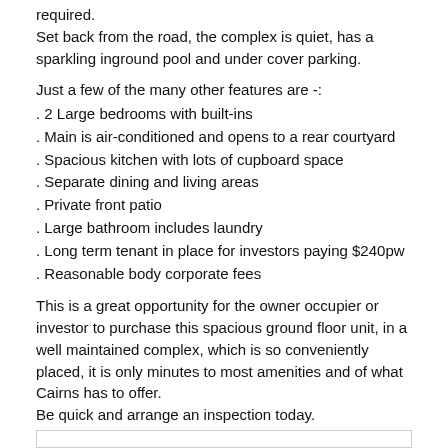required.
Set back from the road, the complex is quiet, has a sparkling inground pool and under cover parking.
Just a few of the many other features are -:
. 2 Large bedrooms with built-ins
. Main is air-conditioned and opens to a rear courtyard
. Spacious kitchen with lots of cupboard space
. Separate dining and living areas
. Private front patio
. Large bathroom includes laundry
. Long term tenant in place for investors paying $240pw
. Reasonable body corporate fees
This is a great opportunity for the owner occupier or investor to purchase this spacious ground floor unit, in a well maintained complex, which is so conveniently placed, it is only minutes to most amenities and of what Cairns has to offer.
Be quick and arrange an inspection today.